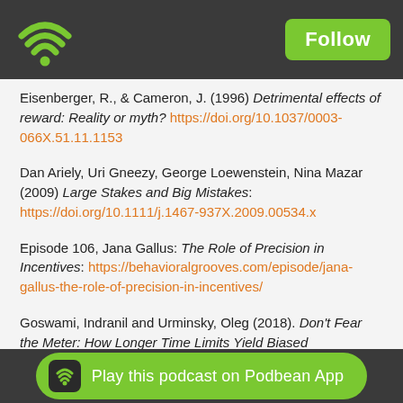[Figure (screenshot): App top bar with green WiFi logo on left and green Follow button on right, dark grey background]
Eisenberger, R., & Cameron, J. (1996) Detrimental effects of reward: Reality or myth? https://doi.org/10.1037/0003-066X.51.11.1153
Dan Ariely, Uri Gneezy, George Loewenstein, Nina Mazar (2009) Large Stakes and Big Mistakes: https://doi.org/10.1111/j.1467-937X.2009.00534.x
Episode 106, Jana Gallus: The Role of Precision in Incentives: https://behavioralgrooves.com/episode/jana-gallus-the-role-of-precision-in-incentives/
Goswami, Indranil and Urminsky, Oleg (2018). Don't Fear the Meter: How Longer Time Limits Yield Biased Preferences for
[Figure (screenshot): Green Play this podcast on Podbean App button at bottom of screen with dark Podbean WiFi icon]